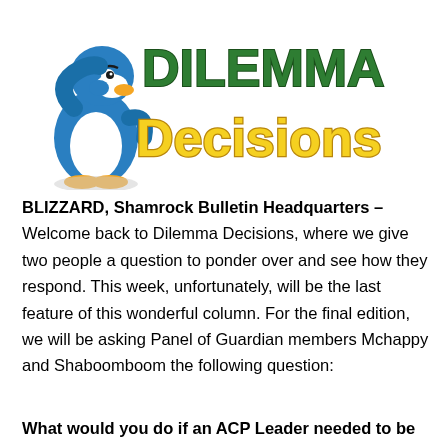[Figure (illustration): Logo for Dilemma Decisions featuring a blue Club Penguin character on the left, with 'DILEMMA' in bold green text and 'Decisions' in bold yellow text to the right.]
BLIZZARD, Shamrock Bulletin Headquarters – Welcome back to Dilemma Decisions, where we give two people a question to ponder over and see how they respond. This week, unfortunately, will be the last feature of this wonderful column. For the final edition, we will be asking Panel of Guardian members Mchappy and Shaboomboom the following question:
What would you do if an ACP Leader needed to be